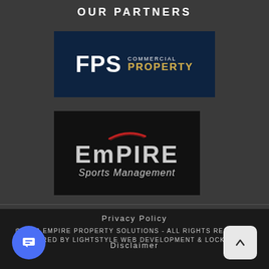OUR PARTNERS
[Figure (logo): FPS Commercial Property logo on dark navy background]
[Figure (logo): Empire Sports Management logo on black background]
Privacy Policy
© 2022 EMPIRE PROPERTY SOLUTIONS - ALL RIGHTS RESERVED
POWERED BY LIGHTSTYLE WEB DEVELOPMENT & LOCKED ON
Disclaimer